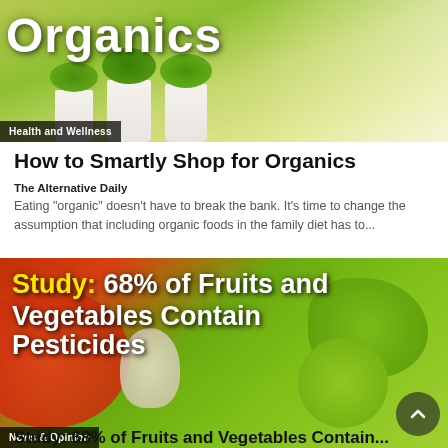[Figure (photo): Herb plants in white pots on a windowsill with large text 'Organics' overlay and 'Health and Wellness' category badge]
How to Smartly Shop for Organics
The Alternative Daily
Eating "organic" doesn't have to break the bank. It's time to change the assumption that including organic foods in the family diet has to...
[Figure (photo): Close-up of green tomatoes and garlic on red/green background with text 'Study: 68% of Fruits and Vegetables Contain Pesticides' and 'News & Opinion' badge]
Study: 68% of Fruits and Vegetables Contain Pesticides